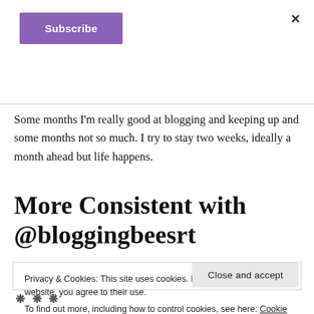[Figure (screenshot): Purple 'Subscribe' button in the top left of a blog page overlay]
×
Some months I'm really good at blogging and keeping up and some months not so much. I try to stay two weeks, ideally a month ahead but life happens.
More Consistent with @bloggingbeesrt
Privacy & Cookies: This site uses cookies. By continuing to use this website, you agree to their use.
To find out more, including how to control cookies, see here: Cookie Policy
Close and accept